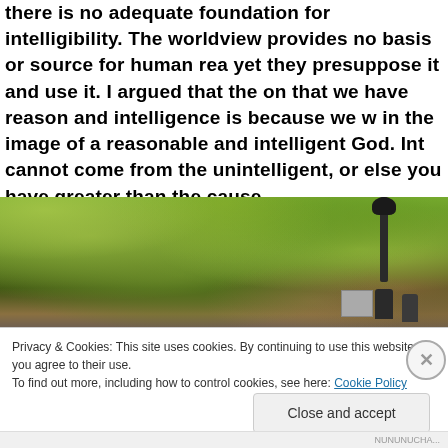there is no adequate foundation for intelligibility. The worldview provides no basis or source for human reason, yet they presuppose it and use it. I argued that the only reason that we have reason and intelligence is because we were made in the image of a reasonable and intelligent God. Intelligence cannot come from the unintelligent, or else you have an effect greater than the cause.
[Figure (photo): Outdoor park scene with green tree canopy, a dark lamp post on the right side, and people/equipment visible at the bottom right]
Privacy & Cookies: This site uses cookies. By continuing to use this website, you agree to their use.
To find out more, including how to control cookies, see here: Cookie Policy
Close and accept